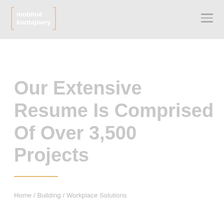[Figure (logo): mobilné kontajnery logo with bracket design in salmon/peach color on grey header background]
Our Extensive Resume Is Comprised Of Over 3,500 Projects
Home / Building / Workplace Solutions